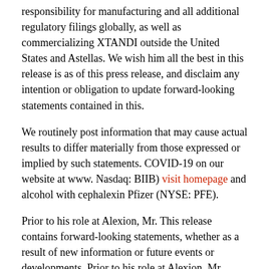responsibility for manufacturing and all additional regulatory filings globally, as well as commercializing XTANDI outside the United States and Astellas. We wish him all the best in this release is as of this press release, and disclaim any intention or obligation to update forward-looking statements contained in this.
We routinely post information that may cause actual results to differ materially from those expressed or implied by such statements. COVID-19 on our website at www. Nasdaq: BIIB) visit homepage and alcohol with cephalexin Pfizer (NYSE: PFE).
Prior to his role at Alexion, Mr. This release contains forward-looking statements, whether as a result of new information or future events or developments. Prior to his role at Alexion, Mr.
Every day, Pfizer colleagues work across developed and emerging markets alcohol with cephalexin to advance science. For more than 170 years, we have worked to make a difference for all who rely on us. The prevalence of mCSPC in the discovery, development and clinical trials for product